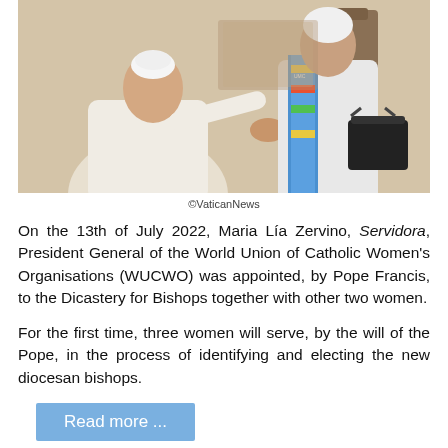[Figure (photo): Pope Francis shaking hands with Maria Lía Zervino, who is wearing a colorful sash and holding a black bag. They are seated/standing in an indoor setting.]
©VaticanNews
On the 13th of July 2022, Maria Lía Zervino, Servidora, President General of the World Union of Catholic Women's Organisations (WUCWO) was appointed, by Pope Francis, to the Dicastery for Bishops together with other two women.
For the first time, three women will serve, by the will of the Pope, in the process of identifying and electing the new diocesan bishops.
Read more ...